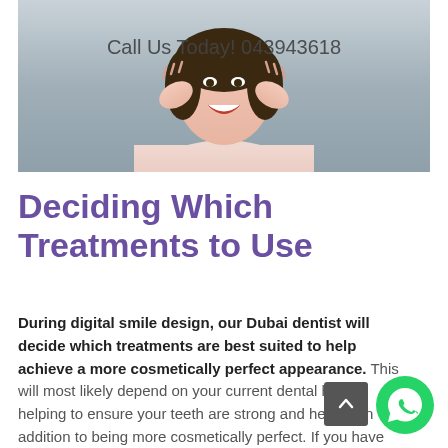[Figure (photo): Woman with hands raised near face, smiling/laughing with white teeth visible, against a blue-grey background. Text overlay reads 'Call Us Today! 043943618'.]
Deciding Which Treatments to Use
During digital smile design, our Dubai dentist will decide which treatments are best suited to help achieve a more cosmetically perfect appearance. This will most likely depend on your current dental health, helping to ensure your teeth are strong and healthy in addition to being more cosmetically perfect. If you have good dental health, the outcome of treatment will